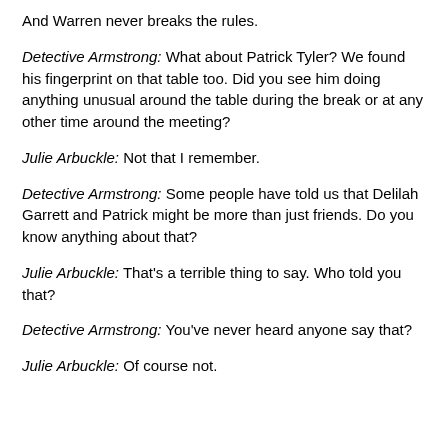And Warren never breaks the rules.
Detective Armstrong: What about Patrick Tyler? We found his fingerprint on that table too. Did you see him doing anything unusual around the table during the break or at any other time around the meeting?
Julie Arbuckle: Not that I remember.
Detective Armstrong: Some people have told us that Delilah Garrett and Patrick might be more than just friends. Do you know anything about that?
Julie Arbuckle: That's a terrible thing to say. Who told you that?
Detective Armstrong: You've never heard anyone say that?
Julie Arbuckle: Of course not.